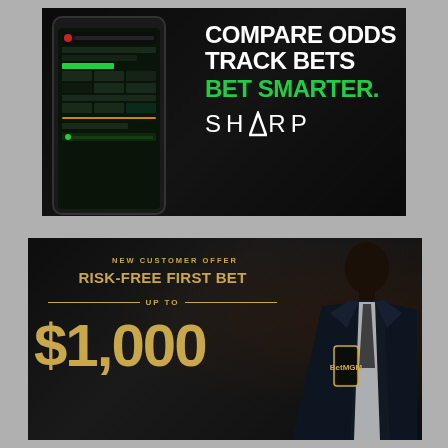[Figure (screenshot): Sharp app advertisement showing a dark-themed sports betting app interface with phone mockup on the left, and text overlay on the right reading 'COMPARE ODDS TRACK BETS BET SMARTER. SHARP']
[Figure (photo): BetMGM advertisement with dark background showing a man in a suit holding a phone, with text 'NEW CUSTOMER OFFER RISK-FREE FIRST BET UP TO $1,000']